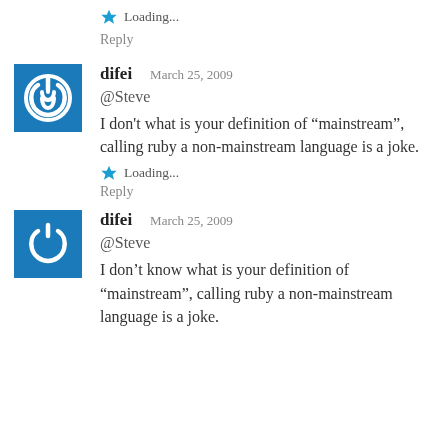Loading...
Reply
difei   March 25, 2009
@Steve
I don't what is your definition of “mainstream”, calling ruby a non-mainstream language is a joke.
Loading...
Reply
difei   March 25, 2009
@Steve
I don’t know what is your definition of “mainstream”, calling ruby a non-mainstream language is a joke.